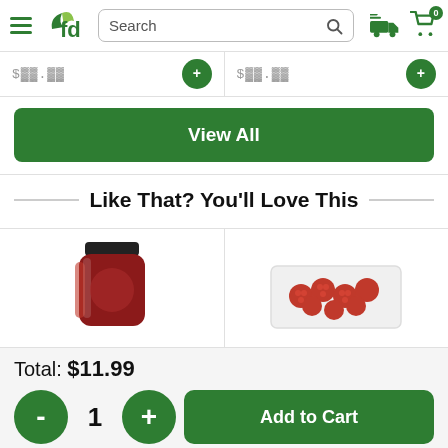fd Search [search icon] [truck icon] [cart icon 0]
[Figure (screenshot): Partial product listing row showing two items with prices partially visible and green add-to-cart circle buttons]
View All
Like That? You'll Love This
[Figure (photo): Product recommendations row: left cell shows a jar of red pasta sauce with a black lid; right cell shows a container of fresh raspberries]
Total: $11.99
- 1 + Add to Cart